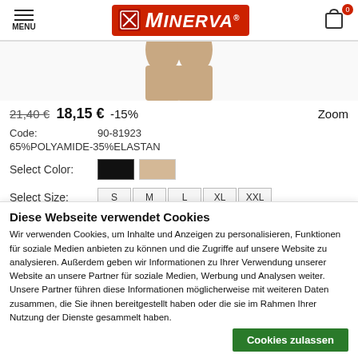MENU | MINERVA® | Cart (0)
[Figure (photo): Product photo: legs wearing beige/nude hosiery on white background, cropped]
21,40 € 18,15 € -15%   Zoom
Code:   90-81923
65%POLYAMIDE-35%ELASTAN
Select Color:  [Black swatch] [Nude swatch]
Select Size:   S  M  L  XL  XXL
Diese Webseite verwendet Cookies
Wir verwenden Cookies, um Inhalte und Anzeigen zu personalisieren, Funktionen für soziale Medien anbieten zu können und die Zugriffe auf unsere Website zu analysieren. Außerdem geben wir Informationen zu Ihrer Verwendung unserer Website an unsere Partner für soziale Medien, Werbung und Analysen weiter. Unsere Partner führen diese Informationen möglicherweise mit weiteren Daten zusammen, die Sie ihnen bereitgestellt haben oder die sie im Rahmen Ihrer Nutzung der Dienste gesammelt haben.
Cookies zulassen